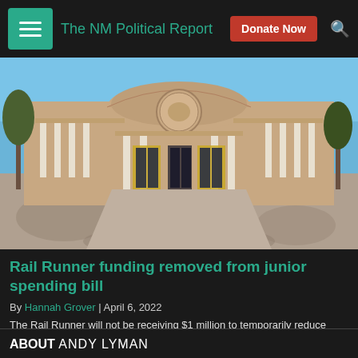The NM Political Report
[Figure (photo): Exterior photograph of the New Mexico State Capitol building (Roundhouse) under a blue sky, showing the circular rotunda, columns, and entrance walkway]
Rail Runner funding removed from junior spending bill
By Hannah Grover | April 6, 2022
The Rail Runner will not be receiving $1 million to temporarily reduce fares to riders.
ABOUT ANDY LYMAN